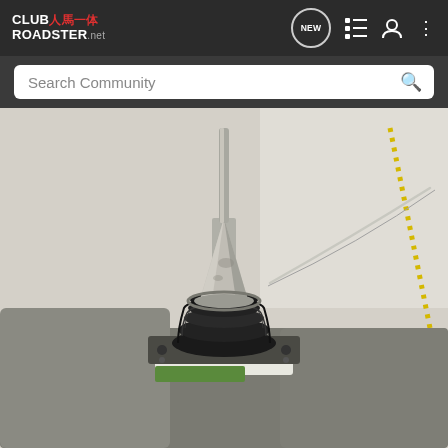CLUB人馬一体 ROADSTER.net — navigation header with NEW, list, user, and menu icons
Search Community
[Figure (photo): Close-up photograph of a manual transmission gear shifter assembly, showing the metal tapered shift rod/knob stub, black rubber accordion boot, and the metal shift tower housing mounted in a vise or on a workbench. A thin metal rod/wire is visible extending to the right. Some green material visible at the base.]